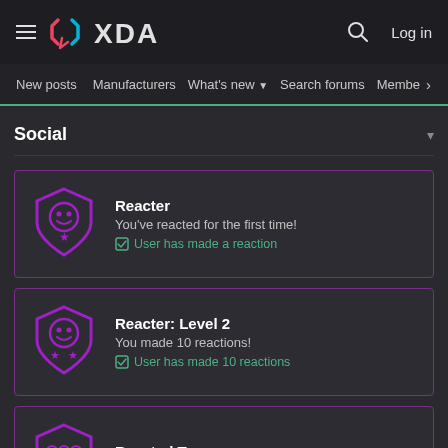XDA — Log in
New posts  Manufacturers  What's new  Search forums  Membe  >
Social
Reacter
You've reacted for the first time!
✓ User has made a reaction
Reacter: Level 2
You made 10 reactions!
✓ User has made 10 reactions
Reacted To
You received a reaction!